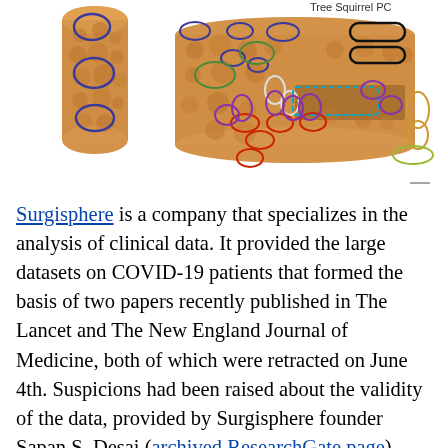[Figure (illustration): Bone cross-section microscopy images with colored oval annotations marking different tissue regions. Left: narrow elongated bone section with blue circle annotations. Right: wider bone labeled 'Tree Squirrel PC' with multiple colored elliptical annotations in blue, green, black, white, cyan, red, purple, orange, and yellow-green.]
Surgisphere is a company that specializes in the analysis of clinical data. It provided the large datasets on COVID-19 patients that formed the basis of two papers recently published in The Lancet and The New England Journal of Medicine, both of which were retracted on June 4th. Suspicions had been raised about the validity of the data, provided by Surgisphere founder Sapan S. Desai (archived ResearchGate page) who was an